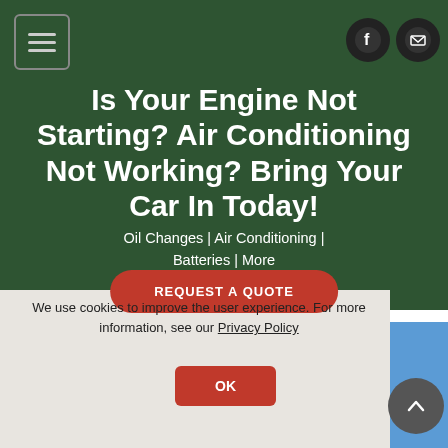Navigation and social icons header
Is Your Engine Not Starting? Air Conditioning Not Working? Bring Your Car In Today!
Oil Changes | Air Conditioning | Batteries | More
REQUEST A QUOTE
We use cookies to improve the user experience. For more information, see our Privacy Policy
OK